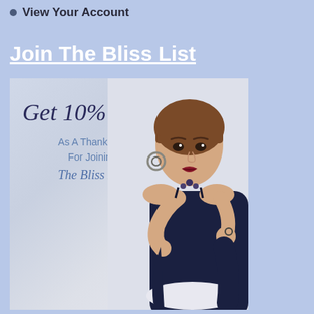View Your Account
Join The Bliss List
[Figure (photo): Promotional image with a woman in a dark navy off-shoulder outfit sitting on a white chair. Text overlay reads 'Get 10% Off As A Thank You For Joining The Bliss List' on a light blue/white background.]